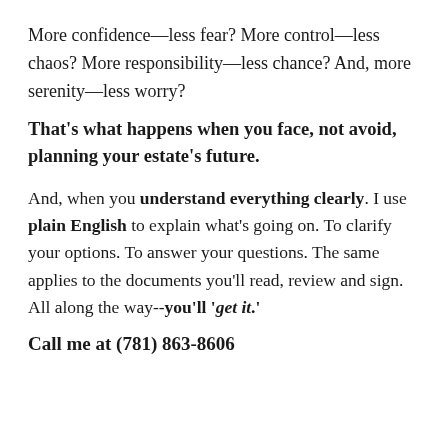More confidence—less fear? More control—less chaos? More responsibility—less chance? And, more serenity—less worry?
That's what happens when you face, not avoid, planning your estate's future.
And, when you understand everything clearly. I use plain English to explain what's going on. To clarify your options. To answer your questions. The same applies to the documents you'll read, review and sign. All along the way--you'll 'get it.'
Call me at (781) 863-8606